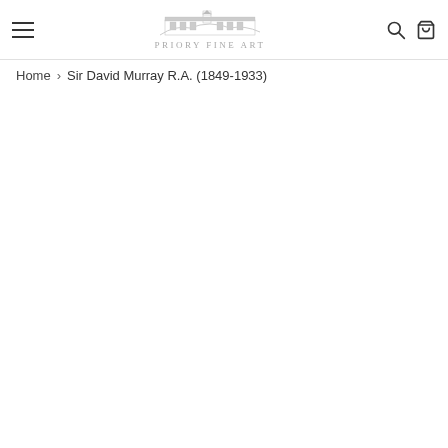Priory Fine Art
Home › Sir David Murray R.A. (1849-1933)